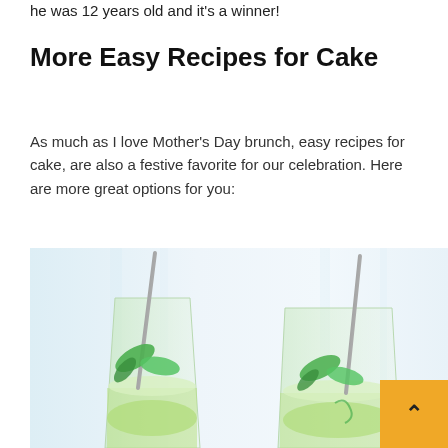he was 12 years old and it's a winner!
More Easy Recipes for Cake
As much as I love Mother's Day brunch, easy recipes for cake, are also a festive favorite for our celebration. Here are more great options for you:
[Figure (photo): Two tall glasses of green lime/cucumber beverages with fresh mint sprigs and metal straws, set against a light blue-white background.]